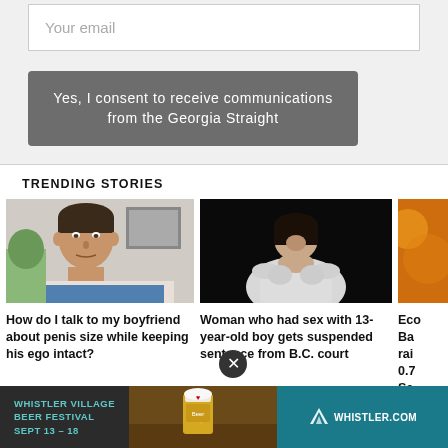Your email
Yes, I consent to receive communications from the Georgia Straight
TRENDING STORIES
[Figure (photo): Photo of a man with short dark hair looking at the camera, appears to be indoors]
How do I talk to my boyfriend about penis size while keeping his ego intact?
[Figure (photo): Photo of a person in a white shirt hunched over with hands clasped, dark background, suggesting distress]
Woman who had sex with 13-year-old boy gets suspended sentence from B.C. court
[Figure (photo): Partially visible photo with orange/warm tones, cropped]
Eco
Ba
rai
0.7
Se
[Figure (photo): Advertisement banner: Whistler Village Beer Festival Sept 13-18, with beer image and Whistler.com logo]